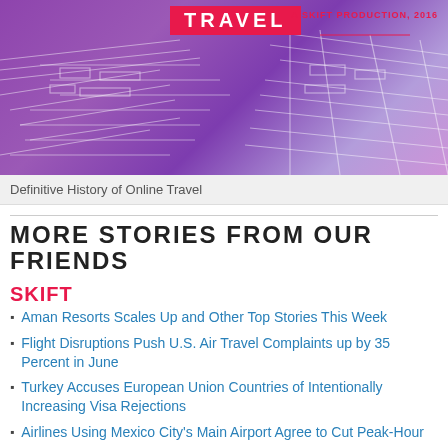[Figure (illustration): Purple banner with architectural line art illustration of an airport/travel hub, red 'TRAVEL' title text overlay, and 'A SKIFT PRODUCTION, 2016' text in red on upper right]
Definitive History of Online Travel
MORE STORIES FROM OUR FRIENDS
SKIFT
Aman Resorts Scales Up and Other Top Stories This Week
Flight Disruptions Push U.S. Air Travel Complaints up by 35 Percent in June
Turkey Accuses European Union Countries of Intentionally Increasing Visa Rejections
Airlines Using Mexico City's Main Airport Agree to Cut Peak-Hour